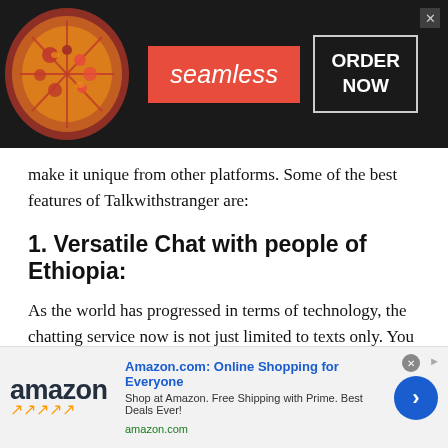[Figure (screenshot): Seamless food delivery advertisement banner with pizza image, red Seamless logo button, and ORDER NOW box on dark background]
make it unique from other platforms. Some of the best features of Talkwithstranger are:
1. Versatile Chat with people of Ethiopia:
As the world has progressed in terms of technology, the chatting service now is not just limited to texts only. You can now chat with audio calls, and video calls as well. Chat with a stranger provides an individual with the ability to video chat with random
[Figure (screenshot): Amazon.com advertisement banner with Amazon logo, link text 'Amazon.com: Online Shopping for Everyone', description 'Shop at Amazon. Free Shipping with Prime. Best Deals Ever!', amazon.com URL, and blue circular arrow button]